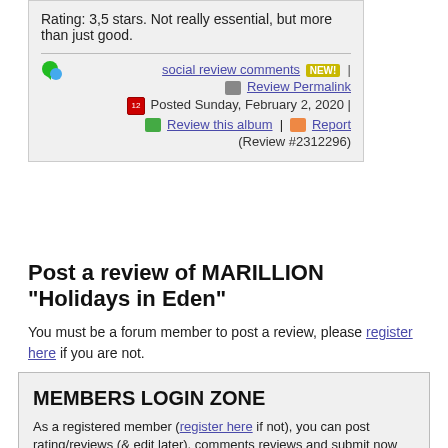Rating: 3,5 stars. Not really essential, but more than just good.
social review comments NEW! | Review Permalink | Posted Sunday, February 2, 2020 | Review this album | Report (Review #2312296)
Post a review of MARILLION "Holidays in Eden"
You must be a forum member to post a review, please register here if you are not.
MEMBERS LOGIN ZONE
As a registered member (register here if not), you can post rating/reviews (& edit later), comments reviews and submit now